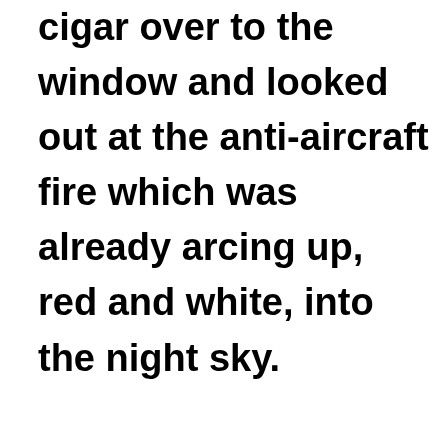cigar over to the window and looked out at the anti-aircraft fire which was already arcing up, red and white, into the night sky.

The bombing campaign lasted from 24 March to 11 June 1999, involving up to 1,000 aircraft operating mainly from bases in Italy and aircraft carriers stationed in the Adriatic. With the exception of Greece, all NATO members